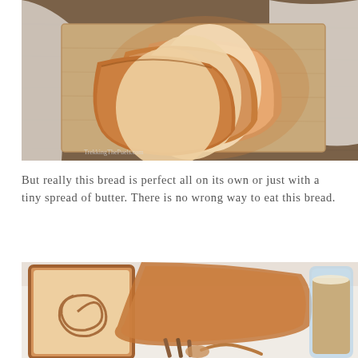[Figure (photo): Sliced bread loaf arranged on a wooden cutting board with a white cloth in the background. Watermark reads 'TrekkingThePuels.com' in bottom left corner.]
But really this bread is perfect all on its own or just with a tiny spread of butter. There is no wrong way to eat this bread.
[Figure (photo): Close-up photo of cinnamon swirl bread slices with a glass of coffee/latte and cinnamon sticks on a white cloth surface.]